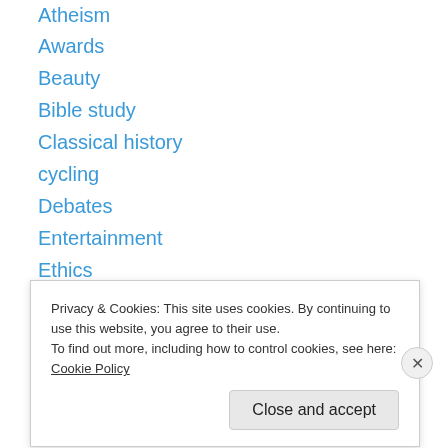Atheism
Awards
Beauty
Bible study
Classical history
cycling
Debates
Entertainment
Ethics
God
Homophobia
Islam
Knowledge
Letters
Privacy & Cookies: This site uses cookies. By continuing to use this website, you agree to their use.
To find out more, including how to control cookies, see here: Cookie Policy
Close and accept